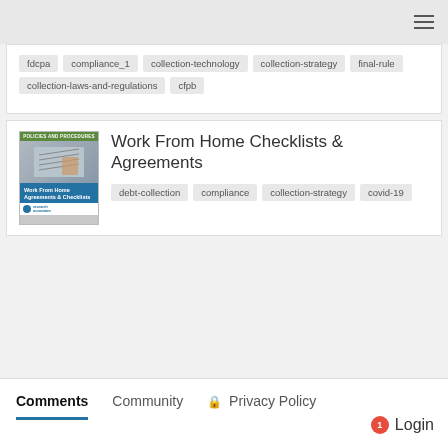navigation bar with hamburger menu
fdcpa
compliance_1
collection-technology
collection-strategy
final-rule
collection-laws-and-regulations
cfpb
Work From Home Checklists & Agreements
[Figure (illustration): Thumbnail image for Work From Home Agreements & Checklists document, showing a cover with blue and green design]
debt-collection
compliance
collection-strategy
covid-19
Comments  Community  Privacy Policy  Login